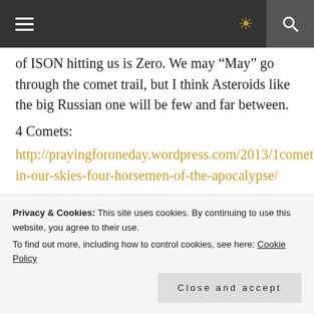≡  [instagram icon]  [search icon]
of ISON hitting us is Zero. We may “May” go through the comet trail, but I think Asteroids like the big Russian one will be few and far between.
4 Comets:
http://prayingforoneday.wordpress.com/2013/1comets-in-our-skies-four-horsemen-of-the-apocalypse/
I added a twist of religious scripture to this one. As it does add up and ,match up.
Privacy & Cookies: This site uses cookies. By continuing to use this website, you agree to their use.
To find out more, including how to control cookies, see here: Cookie Policy
Close and accept
time. I love to get the Telescope out on the top